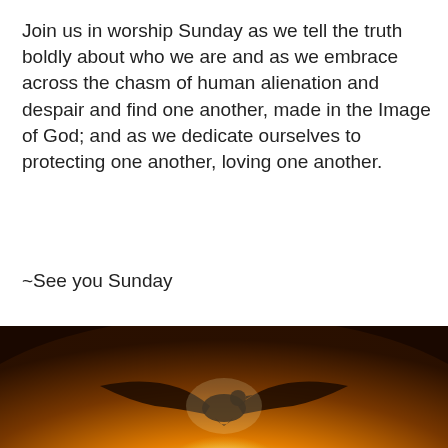Join us in worship Sunday as we tell the truth boldly about who we are and as we embrace across the chasm of human alienation and despair and find one another, made in the Image of God; and as we dedicate ourselves to protecting one another, loving one another.
~See you Sunday
BLACK HISTORY MONTH
BLACK LIVES MATTER
CHURCHES IN SW DC
INCLUSIVE CHURCH
INTERRACIAL CHURCH
THE GOSPEL AND SOCIAL JUSTICE
[Figure (illustration): A glowing dove with spread wings silhouetted against a warm golden-orange light radiating from behind, on a dark background.]